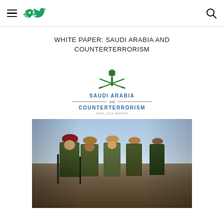WHITE PAPER: SAUDI ARABIA AND COUNTERTERRORISM
[Figure (illustration): Cover page of Saudi Arabia and Counterterrorism white paper with palm tree and crossed swords emblem, text reading SAUDI ARABIA and COUNTERTERRORISM APRIL 2019 REPORT, and a photo of military soldiers in camouflage with red berets]
SAUDI ARABIA and COUNTERTERRORISM APRIL 2019 REPORT